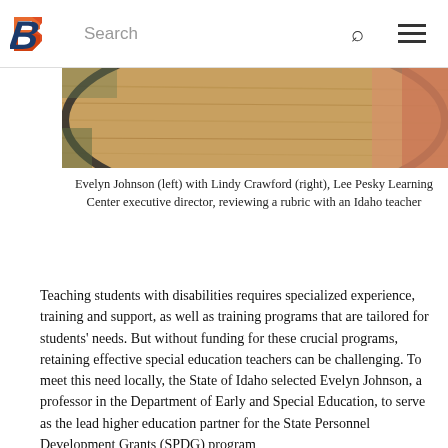Boise State University — Search navigation bar
[Figure (photo): Partial view of a round wooden table with chairs and a person in background; cropped image of Evelyn Johnson with Lindy Crawford reviewing a rubric with an Idaho teacher]
Evelyn Johnson (left) with Lindy Crawford (right), Lee Pesky Learning Center executive director, reviewing a rubric with an Idaho teacher
Teaching students with disabilities requires specialized experience, training and support, as well as training programs that are tailored for students' needs. But without funding for these crucial programs, retaining effective special education teachers can be challenging. To meet this need locally, the State of Idaho selected Evelyn Johnson, a professor in the Department of Early and Special Education, to serve as the lead higher education partner for the State Personnel Development Grants (SPDG) program